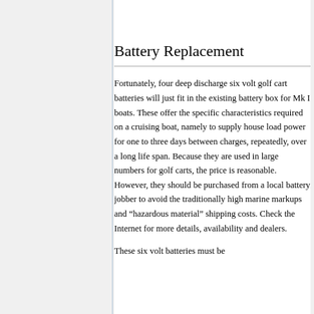Battery Replacement
Fortunately, four deep discharge six volt golf cart batteries will just fit in the existing battery box for Mk I boats. These offer the specific characteristics required on a cruising boat, namely to supply house load power for one to three days between charges, repeatedly, over a long life span. Because they are used in large numbers for golf carts, the price is reasonable. However, they should be purchased from a local battery jobber to avoid the traditionally high marine markups and “hazardous material” shipping costs. Check the Internet for more details, availability and dealers.
These six volt batteries must be